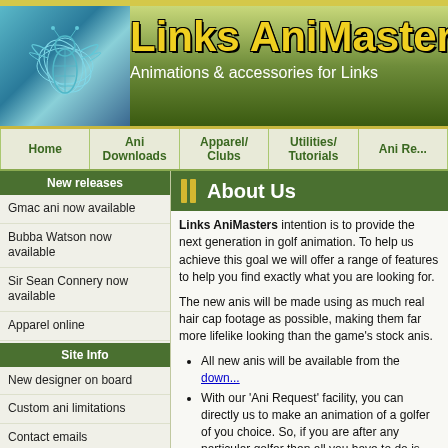[Figure (illustration): Links AniMasters website header banner with logo (3D wireframe bird/bee figure on blue-green background) and yellow bold title text 'Links AniMasters' with subtitle 'Animations & accessories for Links']
Home | Ani Downloads | Apparel/ Clubs | Utilities/ Tutorials | Ani Re...
New releases
Gmac ani now available
Bubba Watson now available
Sir Sean Connery now available
Apparel online
Site Info
New designer on board
Custom ani limitations
Contact emails
New look for site
About Us
Links AniMasters intention is to provide the next generation in golf animation. To help us achieve this goal we will offer a range of features to help you find exactly what you are looking for.
The new anis will be made using as much real hair cap footage as possible, making them far more lifelike looking than the game's stock anis.
All new anis will be available from the download section of the site.
With our 'Ani Request' facility, you can direct us to make an animation of a golfer of you choice. So, if you are after any particular golfer then all you have to do is complete the form.
All the latest ani releases will be shown on the home page.
We will host a large selection of apparel and accessories for golfers wishing to customize their players to their preferences.
We will also host a range of tutorials and utilities relevant to the facilities mentioned above.
Our aim is to keep the site as free from advertising as possible.